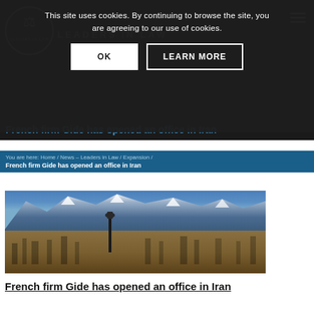This site uses cookies. By continuing to browse the site, you are agreeing to our use of cookies.
OK
LEARN MORE
French firm Gide has opened an office in Iran
You are here: Home / News – Leaders in Law / Expansion / French firm Gide has opened an office in Iran
[Figure (photo): Aerial cityscape of Tehran with snow-capped Alborz mountains in background and Milad Tower visible]
French firm Gide has opened an office in Iran